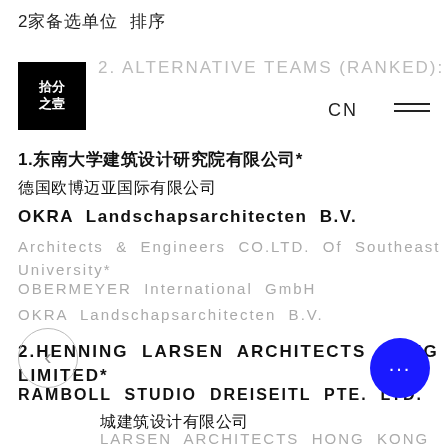2家备选单位 排序
2. ALTERNATIVE TEAMS (RANKED):
[Figure (logo): 拾分之壹 logo — black square with white Chinese characters]
CN
1.东南大学建筑设计研究院有限公司*
德国欧博迈亚国际有限公司
OKRA Landschapsarchitecten B.V.
Architects & Engineers CO.LTD. Of Southeast University*
OBERMEYER International GmbH
OKRA Landschapsarchitecten B.V.
2.HENNING LARSEN ARCHITECTS HONG KONG LIMITED*
RAMBOLL STUDIO DREISEITL PTE. LTD.
沪城建筑设计有限公司
HENNING LARSEN ARCHITECTS HONG KONG LIMITED*
RAMBOLL STUDIO DREISEITL PTE. LTD.